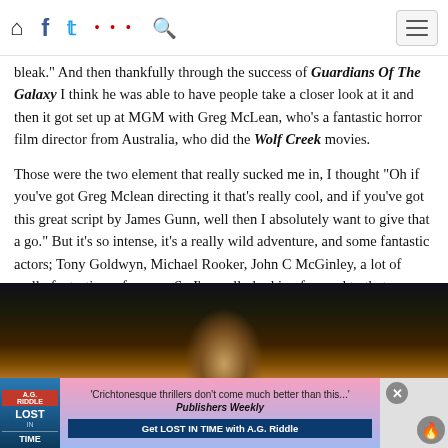Navigation bar with home, facebook, twitter, social, search icons and hamburger menu
bleak." And then thankfully through the success of Guardians Of The Galaxy I think he was able to have people take a closer look at it and then it got set up at MGM with Greg McLean, who's a fantastic horror film director from Australia, who did the Wolf Creek movies.

Those were the two element that really sucked me in, I thought “Oh if you’ve got Greg Mclean directing it that’s really cool, and if you’ve got this great script by James Gunn, well then I absolutely want to give that a go.” But it’s so intense, it’s a really wild adventure, and some fantastic actors; Tony Goldwyn, Michael Rooker, John C McGinley, a lot of really fantastic performers. So I’m really looking forward to that one, I’m excited to find out when it’s going to come out, when people are going to get to see it.
[Figure (photo): Dark scene from a movie or show, showing a figure in a dimly lit environment with warm amber/orange tones at bottom]
'Crichtonesque thrillers don't come much better than this...' Publishers Weekly — Get LOST IN TIME with A.G. Riddle